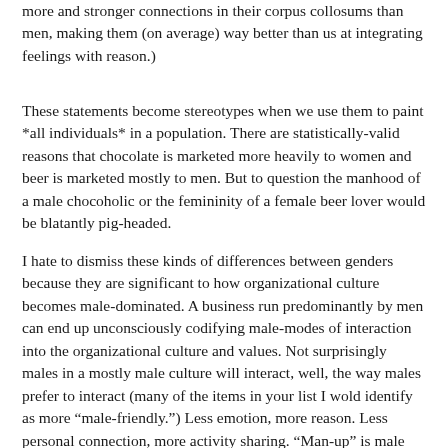more and stronger connections in their corpus collosums than men, making them (on average) way better than us at integrating feelings with reason.)
These statements become stereotypes when we use them to paint *all individuals* in a population. There are statistically-valid reasons that chocolate is marketed more heavily to women and beer is marketed mostly to men. But to question the manhood of a male chocoholic or the femininity of a female beer lover would be blatantly pig-headed.
I hate to dismiss these kinds of differences between genders because they are significant to how organizational culture becomes male-dominated. A business run predominantly by men can end up unconsciously codifying male-modes of interaction into the organizational culture and values. Not surprisingly males in a mostly male culture will interact, well, the way males prefer to interact (many of the items in your list I wold identify as more “male-friendly.”) Less emotion, more reason. Less personal connection, more activity sharing. “Man-up” is male code for “get those emotions out of here and focus on facts, tasks, and accomplishments.” Males construct a defacto cultural “home field advantage” for men